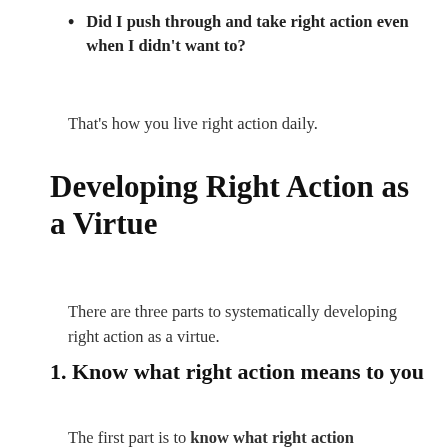Did I push through and take right action even when I didn't want to?
That's how you live right action daily.
Developing Right Action as a Virtue
There are three parts to systematically developing right action as a virtue.
1. Know what right action means to you
The first part is to know what right action